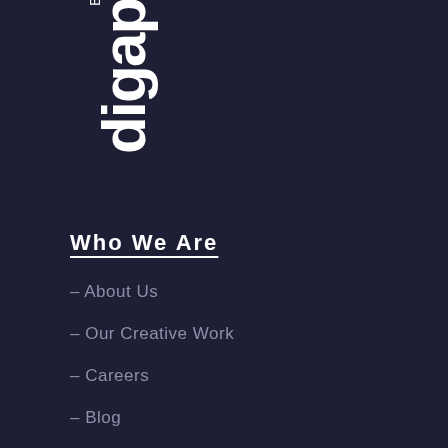[Figure (logo): digap Business logo in white on dark navy background, rotated vertically]
Who We Are
– About Us
– Our Creative Work
– Careers
– Blog
– Contact